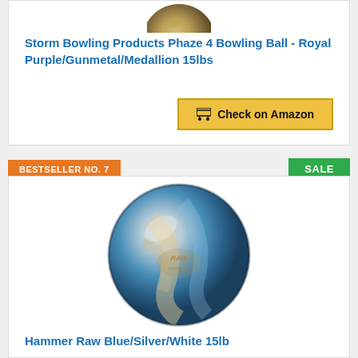[Figure (photo): Partial image of a bowling ball (top portion visible) at the top of the first product card]
Storm Bowling Products Phaze 4 Bowling Ball - Royal Purple/Gunmetal/Medallion 15lbs
Check on Amazon
BESTSELLER NO. 7
SALE
[Figure (photo): Bowling ball in blue/silver/white swirl pattern with Hammer Raw branding]
Hammer Raw Blue/Silver/White 15lb